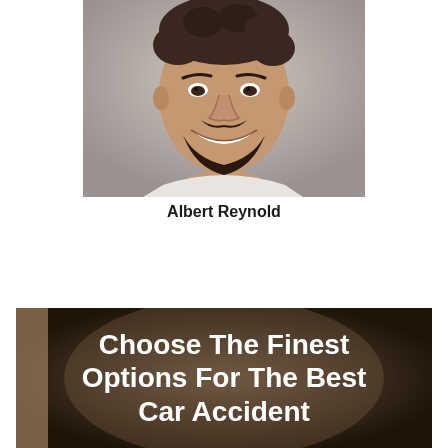[Figure (photo): Portrait photo of a smiling young man with curly dark hair, mustache and beard, wearing a white v-neck t-shirt, against a light gray background]
Albert Reynold
[Figure (illustration): Dark brown banner/graphic with spotlight effect containing bold white text reading 'Choose The Finest Options For The Best Car Accident' with a tan/beige vertical strip on the left side]